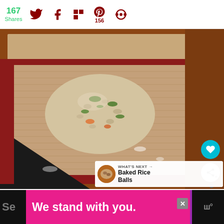167 Shares | Twitter | Facebook | Flipboard | Pinterest (156) | Other
[Figure (photo): A close-up photo of a rice/grain patty or fritter with green vegetables on a silicone baking mat placed on a dark baking tray, showing a wooden surface to the right.]
WHAT'S NEXT → Baked Rice Balls
We stand with you.